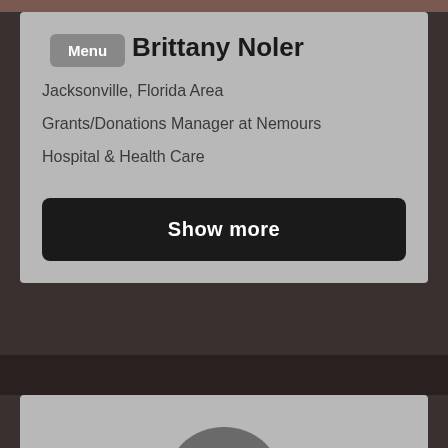Menu
Brittany Noler
Jacksonville, Florida Area
Grants/Donations Manager at Nemours
Hospital & Health Care
Show more
[Figure (photo): Profile photo placeholder / avatar silhouette at bottom of page]